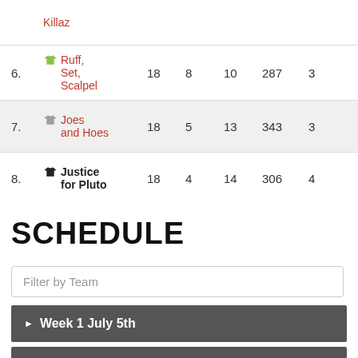| # | Team | GP | W | L | PF |  |
| --- | --- | --- | --- | --- | --- | --- |
| 6. | Ruff, Set, Scalpel | 18 | 8 | 10 | 287 | 3 |
| 7. | Joes and Hoes | 18 | 5 | 13 | 343 | 3 |
| 8. | Justice for Pluto | 18 | 4 | 14 | 306 | 4 |
SCHEDULE
Filter by Team
Week 1 July 5th
Week 2 July 12th